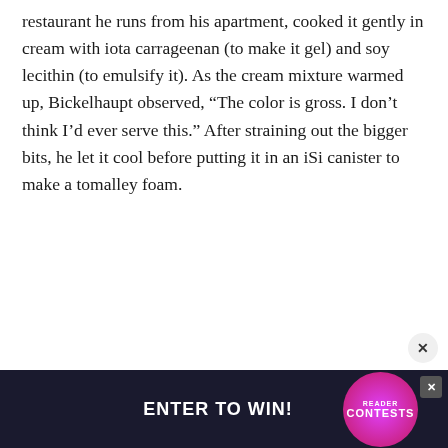restaurant he runs from his apartment, cooked it gently in cream with iota carrageenan (to make it gel) and soy lecithin (to emulsify it). As the cream mixture warmed up, Bickelhaupt observed, “The color is gross. I don’t think I’d ever serve this.” After straining out the bigger bits, he let it cool before putting it in an iSi canister to make a tomalley foam.
[Figure (other): Advertisement banner at the bottom of the page reading 'ENTER TO WIN!' with 'READER CONTESTS' in pink on a dark background, with a decorative circle/badge graphic and a close button (X).]